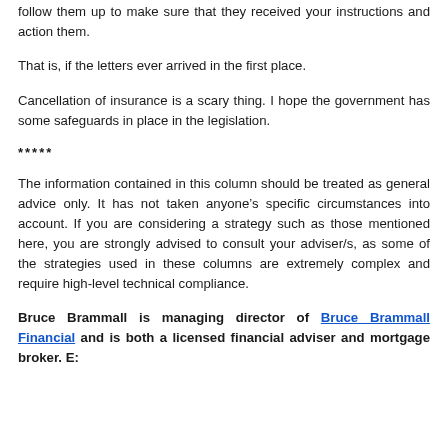can hope for is that existing super fund insurances will have some added protection regarding their insurances.
But, realistically, you’re going to have to pay more attention to letters from your APRA funds. You’re going to need to read them, tick the right box, sign them and return them, then personally follow them up to make sure that they received your instructions and action them.
That is, if the letters ever arrived in the first place.
Cancellation of insurance is a scary thing. I hope the government has some safeguards in place in the legislation.
*****
The information contained in this column should be treated as general advice only. It has not taken anyone’s specific circumstances into account. If you are considering a strategy such as those mentioned here, you are strongly advised to consult your adviser/s, as some of the strategies used in these columns are extremely complex and require high-level technical compliance.
Bruce Brammall is managing director of Bruce Brammall Financial and is both a licensed financial adviser and mortgage broker. E: